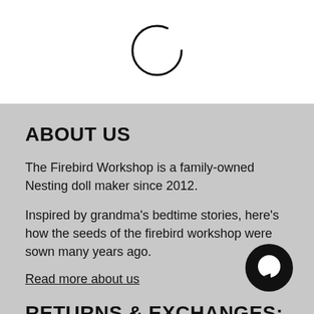[Figure (illustration): A thin-stroke circular spinner/loading indicator arc, partially complete, centered in the white top section]
ABOUT US
The Firebird Workshop is a family-owned Nesting doll maker since 2012.
Inspired by grandma's bedtime stories, here's how the seeds of the firebird workshop were sown many years ago.
Read more about us
RETURNS & EXCHANGES:
We gladly accept returns, exchanges, and cancellations
[Figure (illustration): A dark circular chat bubble icon with a white circle inside, positioned in the lower right area]